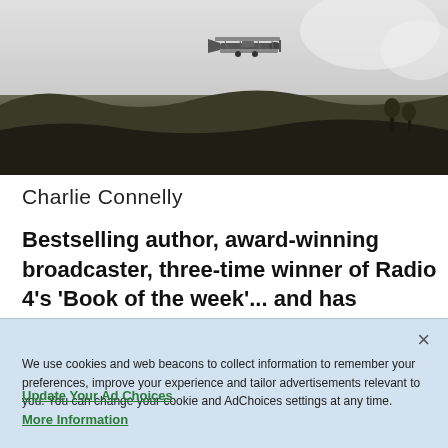[Figure (photo): Black and white historical photograph of an early biplane aircraft in flight over a grassy field. The plane is visible against a light sky, and the landscape below shows rolling terrain.]
Charlie Connelly
Bestselling author, award-winning broadcaster, three-time winner of Radio 4's 'Book of the week'... and has
We use cookies and web beacons to collect information to remember your preferences, improve your experience and tailor advertisements relevant to you. You can change your cookie and AdChoices settings at any time.
Update Your Ad Choices
More Information